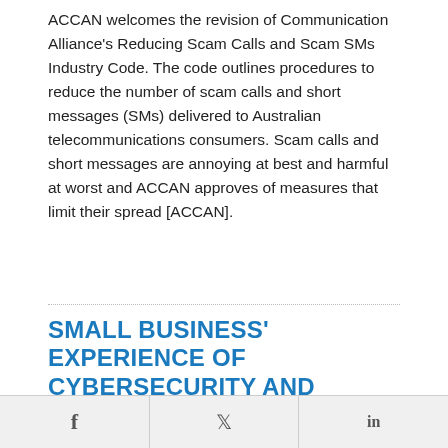ACCAN welcomes the revision of Communication Alliance's Reducing Scam Calls and Scam SMs Industry Code. The code outlines procedures to reduce the number of scam calls and short messages (SMs) delivered to Australian telecommunications consumers. Scam calls and short messages are annoying at best and harmful at worst and ACCAN approves of measures that limit their spread [ACCAN].
SMALL BUSINESS' EXPERIENCE OF CYBERSECURITY AND ONLINE SURVEY